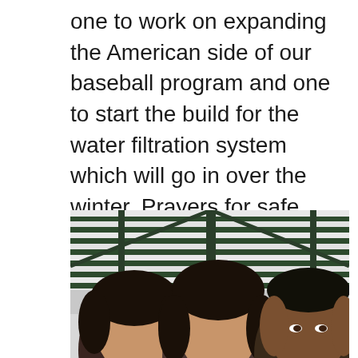one to work on expanding the American side of our baseball program and one to start the build for the water filtration system which will go in over the winter. Prayers for safe travels and good health would be much appreciated.
[Figure (photo): A group photo of three people taken from below, under a corrugated metal roof structure with green beams. Two individuals appear to have dark hair, one facing slightly different directions. The third person has short dark hair on the right side.]